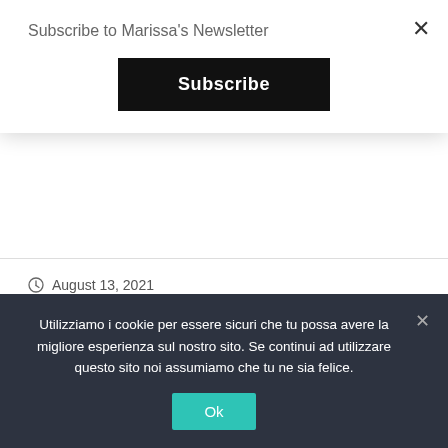Subscribe to Marissa's Newsletter
Subscribe
August 13, 2021
Damn good advice
“Creativity can solve almost any problem – the creative act, the defeat of habit by originality, overcomes everything.” George Lois Painting: “ Fox in the City – Boston” You are never alone …
Utilizziamo i cookie per essere sicuri che tu possa avere la migliore esperienza sul nostro sito. Se continui ad utilizzare questo sito noi assumiamo che tu ne sia felice.
Ok